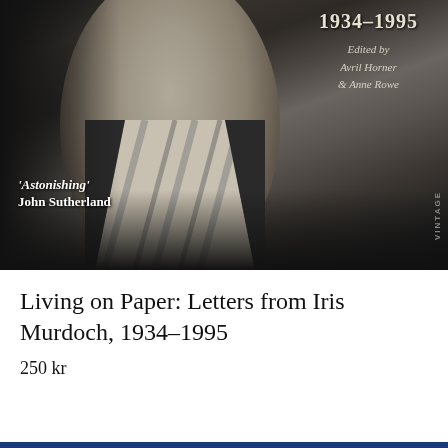[Figure (photo): Black and white photograph of a person (Iris Murdoch) showing face and neck with a striped tie/collar. Overlaid text includes '1934–1995', 'Edited by Avril Horner & Anne Rowe', ''Astonishing' John Sutherland', and 'VINTAGE' vertically on the right side.]
Living on Paper: Letters from Iris Murdoch, 1934–1995
250 kr